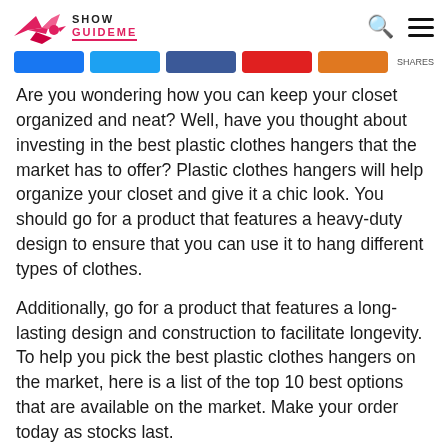Show GuideMe
Are you wondering how you can keep your closet organized and neat? Well, have you thought about investing in the best plastic clothes hangers that the market has to offer? Plastic clothes hangers will help organize your closet and give it a chic look. You should go for a product that features a heavy-duty design to ensure that you can use it to hang different types of clothes.
Additionally, go for a product that features a long-lasting design and construction to facilitate longevity. To help you pick the best plastic clothes hangers on the market, here is a list of the top 10 best options that are available on the market. Make your order today as stocks last.